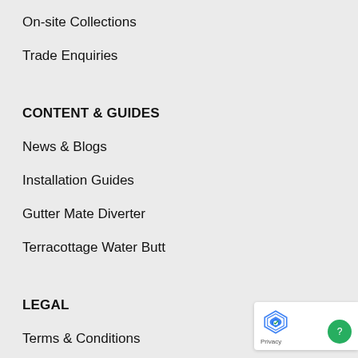On-site Collections
Trade Enquiries
CONTENT & GUIDES
News & Blogs
Installation Guides
Gutter Mate Diverter
Terracottage Water Butt
LEGAL
Terms & Conditions
Privacy Policy